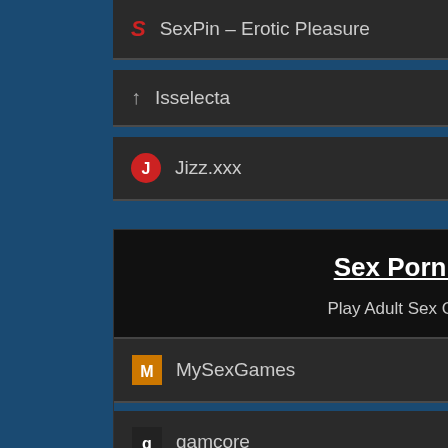SexPin – Erotic Pleasure
Isselecta
Jizz.xxx
Sex Porn Games
Play Adult Sex Game Online!
MySexGames
gamcore
Free Sexy Games